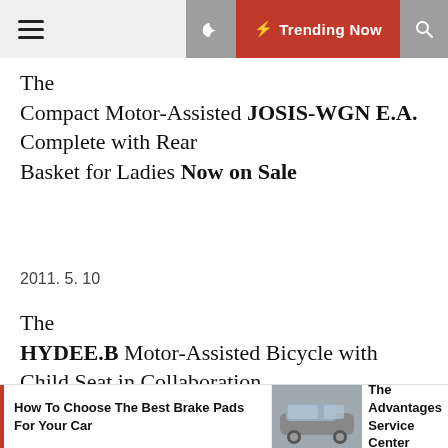☰  🌙  ⚡ Trending Now  🔍
The Compact Motor-Assisted JOSIS-WGN E.A. Complete with Rear Basket for Ladies Now on Sale
2011. 5. 10
The HYDEE.B Motor-Assisted Bicycle with Child Seat in Collaboration with VERY Soon on Sale
How To Choose The Best Brake Pads For Your Car | The Advantages Service Center